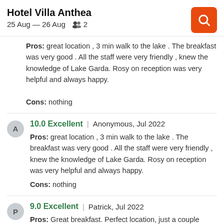Hotel Villa Anthea
25 Aug — 26 Aug   2
Pros: great location , 3 min walk to the lake . The breakfast was very good . All the staff were very friendly , knew the knowledge of Lake Garda. Rosy on reception was very helpful and always happy.
Cons: nothing
10.0 Excellent | Anonymous, Jul 2022
Pros: great location , 3 min walk to the lake . The breakfast was very good . All the staff were very friendly , knew the knowledge of Lake Garda. Rosy on reception was very helpful and always happy.
Cons: nothing
9.0 Excellent | Patrick, Jul 2022
Pros: Great breakfast. Perfect location, just a couple minutes away from the main streets. Very good service and nice staff. Also enjoyed the pool area.
Cons: Small beds. Thin walls(could hear people snoring)
9.0 Excellent | Patrick, Jul 2022